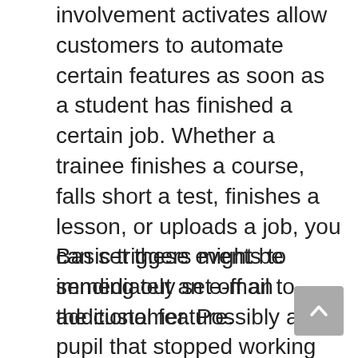involvement activates allow customers to automate certain features as soon as a student has finished a certain job. Whether a trainee finishes a course, falls short a test, finishes a lesson, or uploads a job, you can set these events to immediately set off an additional feature.
Basic triggers might be sending out an e-mail to the customer. Possibly a pupil that stopped working a quiz needs some guidance, as well as you can easily connect by doing this. There's plenty of area for imagination, particularly if you incorporate LearnDash with Zapier.
The degree to which you can attach